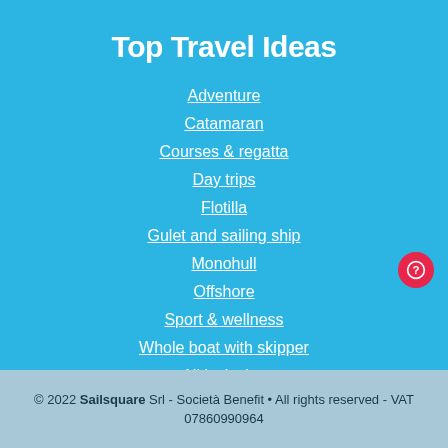Top Travel Ideas
Adventure
Catamaran
Courses & regatta
Day trips
Flotilla
Gulet and sailing ship
Monohull
Offshore
Sport & wellness
Whole boat with skipper
All inclusive
Crewed
WWF Sailing Cruises
© 2022 Sailsquare Srl - Società Benefit • All rights reserved - VAT 07860990964